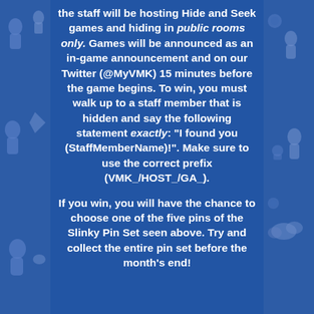[Figure (illustration): Blue background with light blue Disney toy story character silhouettes on left and right sides]
the staff will be hosting Hide and Seek games and hiding in public rooms only. Games will be announced as an in-game announcement and on our Twitter (@MyVMK) 15 minutes before the game begins. To win, you must walk up to a staff member that is hidden and say the following statement exactly: "I found you (StaffMemberName)!". Make sure to use the correct prefix (VMK_/HOST_/GA_).

If you win, you will have the chance to choose one of the five pins of the Slinky Pin Set seen above. Try and collect the entire pin set before the month's end!